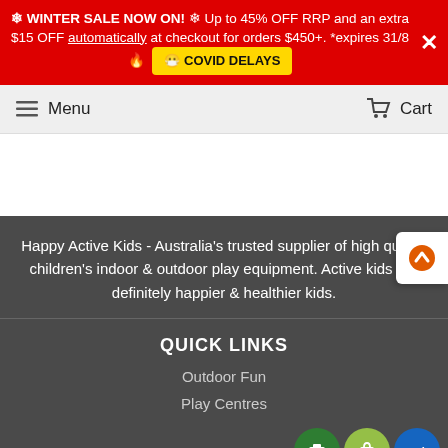❄ WINTER SALE NOW ON! ❄ Up to 45% OFF RRP and an extra $15 OFF automatically at checkout for orders $450+. *expires 31/8 🔥 😷 COVID DELAYS
Menu  Cart
Happy Active Kids - Australia's trusted supplier of high quality children's indoor & outdoor play equipment. Active kids are definitely happier & healthier kids.
QUICK LINKS
Outdoor Fun
Play Centres